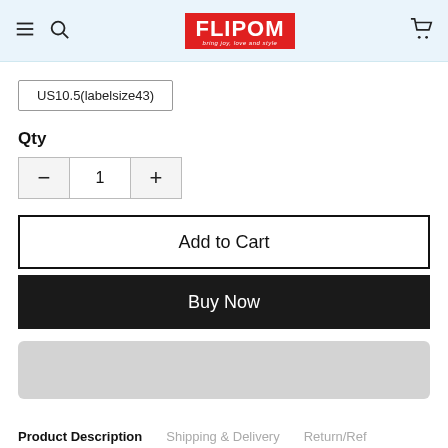FLIPOM - bring joy, love and style
US10.5(labelsize43)
Qty
- 1 +
Add to Cart
Buy Now
[Figure (other): Gray rounded rectangle placeholder bar]
Product Description   Shipping & Delivery   Return/Ref